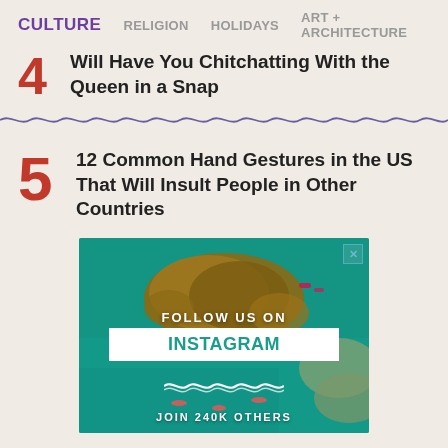CULTURE   RELIGION   HOLIDAYS   ART + ARCHITECTURE
Will Have You Chitchatting With the Queen in a Snap
12 Common Hand Gestures in the US That Will Insult People in Other Countries
[Figure (infographic): Instagram follow us ad with aerial ocean/rocks photo background. Text: FOLLOW US ON INSTAGRAM JOIN 240K OTHERS]